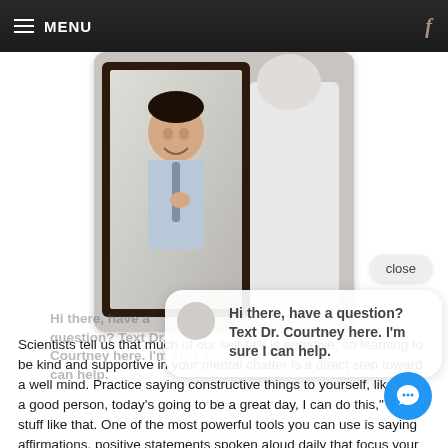MENU
[Figure (photo): A man adjusting his tie while looking at himself smiling in a dark-framed mirror, viewed from behind on the right side.]
close
Hi there, have a question? Text Dr. Courtney here. I'm sure I can help.
Scientists tell us that much of our self-talk is negative, so learning to be kind and supportive in your mental chatter is a direct step toward a well mind. Practice saying constructive things to yourself, like "I'm a good person, today's going to be a great day, I can do this," simple stuff like that. One of the most powerful tools you can use is saying affirmations, positive statements spoken aloud daily that focus your mind and establish a consistent tone of empowerment.